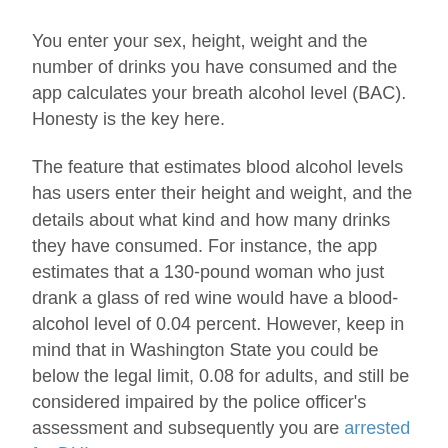You enter your sex, height, weight and the number of drinks you have consumed and the app calculates your breath alcohol level (BAC). Honesty is the key here.
The feature that estimates blood alcohol levels has users enter their height and weight, and the details about what kind and how many drinks they have consumed. For instance, the app estimates that a 130-pound woman who just drank a glass of red wine would have a blood-alcohol level of 0.04 percent. However, keep in mind that in Washington State you could be below the legal limit, 0.08 for adults, and still be considered impaired by the police officer's assessment and subsequently you are arrested for DUI.
If you are below the 0.08 line , the app will warn you that your ability to drive may be impaired, and that you should get a cab or have someone else drive you home. If you enable the app to do so, it uses the GPS to call a